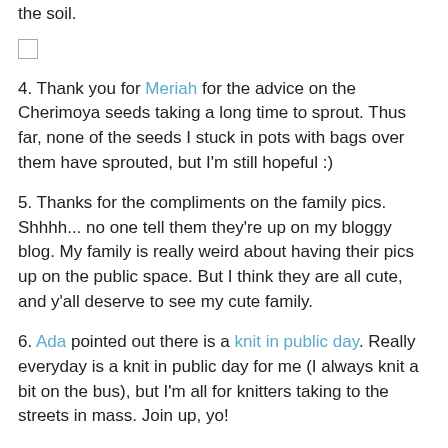the soil.
4. Thank you for Meriah for the advice on the Cherimoya seeds taking a long time to sprout. Thus far, none of the seeds I stuck in pots with bags over them have sprouted, but I'm still hopeful :)
5. Thanks for the compliments on the family pics. Shhhh... no one tell them they're up on my bloggy blog. My family is really weird about having their pics up on the public space. But I think they are all cute, and y'all deserve to see my cute family.
6. Ada pointed out there is a knit in public day. Really everyday is a knit in public day for me (I always knit a bit on the bus), but I'm all for knitters taking to the streets in mass. Join up, yo!
7. thank you all for your compliments on my little deck garden. It certainly makes me happy (and will hopefully feed